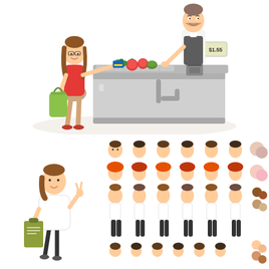[Figure (illustration): Cartoon illustration of a female customer handing a payment card to a male cashier at a grocery checkout counter. The woman has brown hair, glasses, wears a red top and beige skirt, and carries a green shopping bag. The cashier is bearded, wears a white shirt and dark apron, and stands behind a gray checkout counter with vegetables and tomatoes on the belt. A POS terminal and price display are visible.]
[Figure (illustration): Character design sheet showing a cartoon businesswoman in white blouse and dark pants holding a clipboard and making a peace sign. Next to her is a grid of character animation parts: multiple head/face views from different angles (front, side, back) in rows, showing different hairstyles and skin tones. The rightmost column shows color swatches for skin tones and hair colors.]